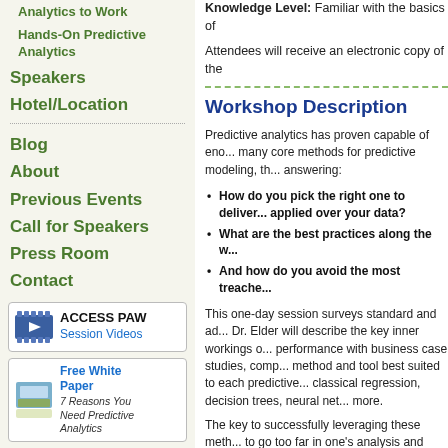Analytics to Work
Hands-On Predictive Analytics
Speakers
Hotel/Location
Blog
About
Previous Events
Call for Speakers
Press Room
Contact
[Figure (other): ACCESS PAW Session Videos sidebar box with film icon]
[Figure (other): Free White Paper - 7 Reasons You Need Predictive Analytics sidebar box]
[Figure (other): Rexer Analytics Data Miner Survey Free Report sidebar box]
Knowledge Level: Familiar with the basics of
Attendees will receive an electronic copy of the
Workshop Description
Predictive analytics has proven capable of eno... many core methods for predictive modeling, th... answering:
How do you pick the right one to deliver... applied over your data?
What are the best practices along the w...
And how do you avoid the most treache...
This one-day session surveys standard and ad... Dr. Elder will describe the key inner workings o... performance with business case studies, comp... method and tool best suited to each predictive... classical regression, decision trees, neural net... more.
The key to successfully leveraging these meth... to go too far in one's analysis and "torture the d...